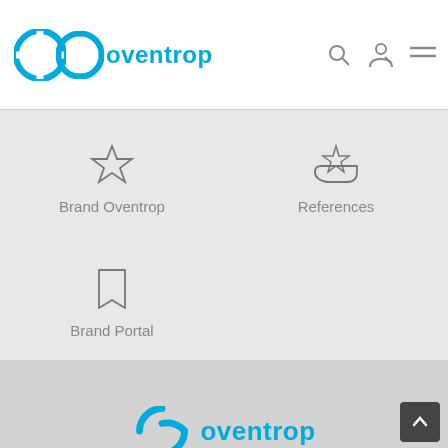oventrop
[Figure (infographic): Navigation menu icons grid with Brand Oventrop (star icon), References (star on hand icon), and Brand Portal (bookmark icon)]
Brand Oventrop
References
Brand Portal
[Figure (logo): Oventrop logo partially visible at bottom of page]